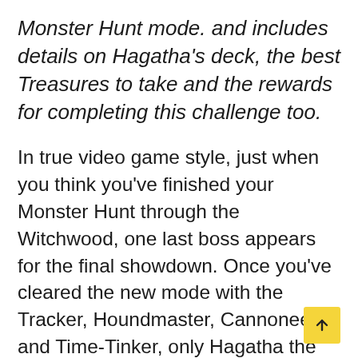Monster Hunt mode. and includes details on Hagatha's deck, the best Treasures to take and the rewards for completing this challenge too.
In true video game style, just when you think you've finished your Monster Hunt through the Witchwood, one last boss appears for the final showdown. Once you've cleared the new mode with the Tracker, Houndmaster, Cannoneer and Time-Tinker, only Hagatha the Witch stands in your way.
But how do you go about defeating her? Well, we've got some insights into what you can expect from Hagatha, as well as some general advice for how to emerge victorious in this lengthy and chaotic final encounter that'll